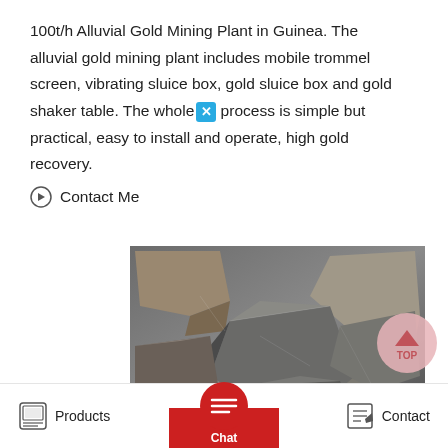100t/h Alluvial Gold Mining Plant in Guinea. The alluvial gold mining plant includes mobile trommel screen, vibrating sluice box, gold sluice box and gold shaker table. The whole process is simple but practical, easy to install and operate, high gold recovery.
Contact Me
[Figure (photo): Pile of dark metallic ore/rock chunks]
[Figure (other): TOP scroll-to-top button (pink circle with upward arrow)]
MOBILE GOLD WASHING AND MINING MACHINE
Products   Chat   Contact